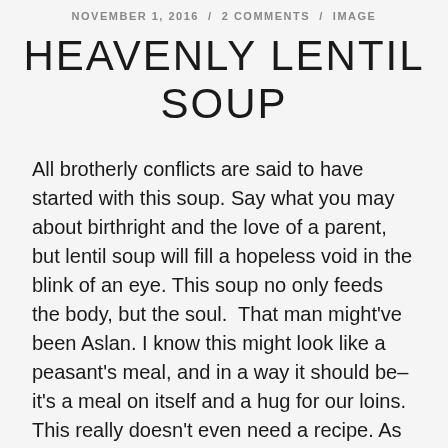NOVEMBER 1, 2016  /  2 COMMENTS  /  IMAGE
HEAVENLY LENTIL SOUP
All brotherly conflicts are said to have started with this soup. Say what you may about birthright and the love of a parent, but lentil soup will fill a hopeless void in the blink of an eye. This soup no only feeds the body, but the soul.  That man might've been Aslan. I know this might look like a peasant's meal, and in a way it should be– it's a meal on itself and a hug for our loins. This really doesn't even need a recipe. As long as you know what it contains and you put in it a whole lotta love, you should be good, and your eaters grateful. Last month I